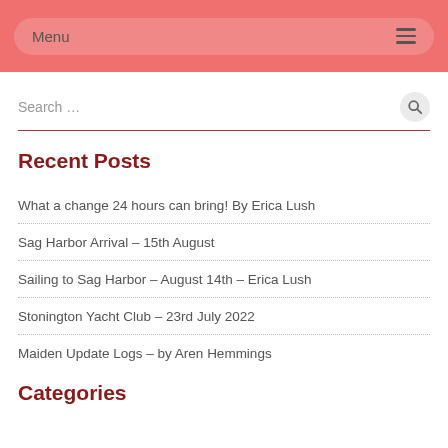Menu
Search ...
Recent Posts
What a change 24 hours can bring! By Erica Lush
Sag Harbor Arrival – 15th August
Sailing to Sag Harbor – August 14th – Erica Lush
Stonington Yacht Club – 23rd July 2022
Maiden Update Logs – by Aren Hemmings
Categories